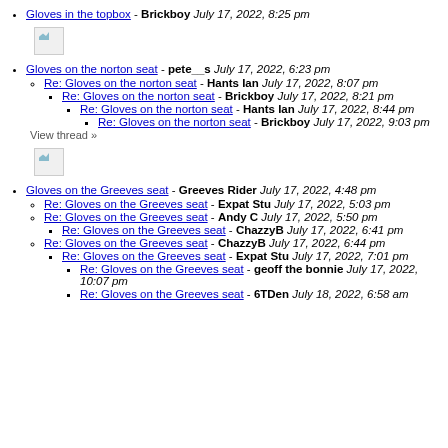Gloves in the topbox - Brickboy July 17, 2022, 8:25 pm
[Figure (other): Broken image placeholder]
Gloves on the norton seat - pete__s July 17, 2022, 6:23 pm
Re: Gloves on the norton seat - Hants Ian July 17, 2022, 8:07 pm
Re: Gloves on the norton seat - Brickboy July 17, 2022, 8:21 pm
Re: Gloves on the norton seat - Hants Ian July 17, 2022, 8:44 pm
Re: Gloves on the norton seat - Brickboy July 17, 2022, 9:03 pm
View thread »
[Figure (other): Broken image placeholder]
Gloves on the Greeves seat - Greeves Rider July 17, 2022, 4:48 pm
Re: Gloves on the Greeves seat - Expat Stu July 17, 2022, 5:03 pm
Re: Gloves on the Greeves seat - Andy C July 17, 2022, 5:50 pm
Re: Gloves on the Greeves seat - ChazzyB July 17, 2022, 6:41 pm
Re: Gloves on the Greeves seat - ChazzyB July 17, 2022, 6:44 pm
Re: Gloves on the Greeves seat - Expat Stu July 17, 2022, 7:01 pm
Re: Gloves on the Greeves seat - geoff the bonnie July 17, 2022, 10:07 pm
Re: Gloves on the Greeves seat - 6TDen July 18, 2022, 6:58 am